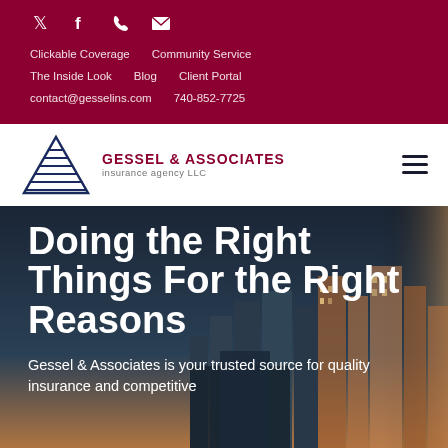Social icons: Twitter, Facebook, Phone, Email
Clickable Coverage   Community Service   The Inside Look   Blog   Client Portal   contact@gesselins.com   740-852-7725
[Figure (logo): Gessel & Associates Insurance Agency LLC logo with pyramid/triangle graphic in dark navy blue]
Doing the Right Things For the Right Reasons
Gessel & Associates is your trusted source for quality insurance and competitive